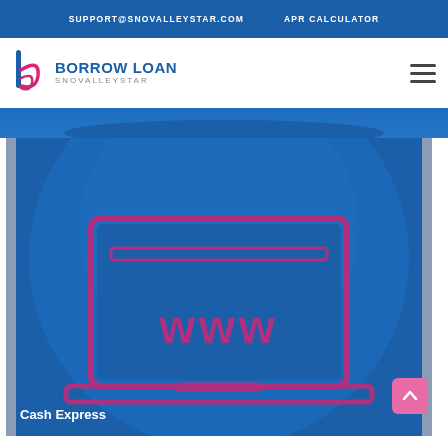SUPPORT@SNOVALLEYSTAR.COM   APR CALCULATOR
[Figure (logo): Borrow Loan Snovalleystar logo with stylized 'b' icon in pink/blue and text 'BORROW LOAN SNOVALLEYSTAR']
[Figure (illustration): Blue background illustration with a large circle, a laptop/monitor icon with 'www' text in pink/purple, representing online borrowing or website]
Cash Express